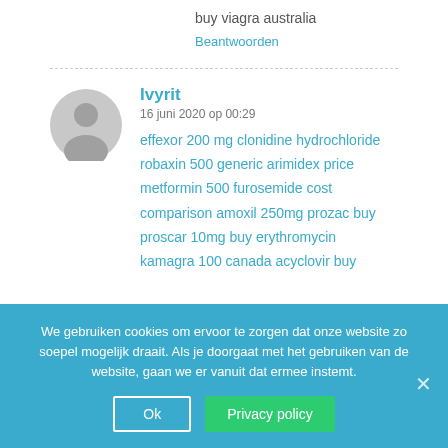buy viagra australia
Beantwoorden
Ivyrit
16 juni 2020 op 00:29
effexor 200 mg clonidine hydrochloride
robaxin 500 generic arimidex price
metformin 500 furosemide cost comparison amoxil 250mg prozac buy
proscar 10mg buy erythromycin
kamagra 100 canada acyclovir buy
We gebruiken cookies om ervoor te zorgen dat onze website zo soepel mogelijk draait. Als je doorgaat met het gebruiken van de website, gaan we er vanuit dat ermee instemt.